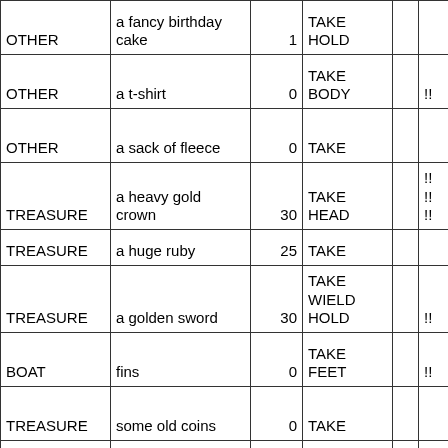| Category | Item | Value | Action |  |  |
| --- | --- | --- | --- | --- | --- |
| OTHER | a fancy birthday cake | 1 | TAKE HOLD |  |  |
| OTHER | a t-shirt | 0 | TAKE BODY |  | !! |
| OTHER | a sack of fleece | 0 | TAKE |  |  |
| TREASURE | a heavy gold crown | 30 | TAKE HEAD |  | !! !! !! |
| TREASURE | a huge ruby | 25 | TAKE |  |  |
| TREASURE | a golden sword | 30 | TAKE WIELD HOLD |  | !! |
| BOAT | fins | 0 | TAKE FEET |  | !! |
| TREASURE | some old coins | 0 | TAKE |  |  |
| TREASURE | a bottle-opener | 0 | TAKE HOLD |  | N !! !! |
|  |  |  | TAKE |  | !! |